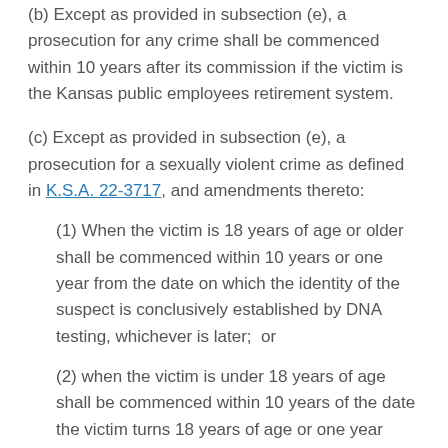(b)  Except as provided in subsection (e), a prosecution for any crime shall be commenced within 10 years after its commission if the victim is the Kansas public employees retirement system.
(c)  Except as provided in subsection (e), a prosecution for a sexually violent crime as defined in K.S.A. 22-3717, and amendments thereto:
(1)  When the victim is 18 years of age or older shall be commenced within 10 years or one year from the date on which the identity of the suspect is conclusively established by DNA testing, whichever is later;  or
(2)  when the victim is under 18 years of age shall be commenced within 10 years of the date the victim turns 18 years of age or one year from the date on which the identity of the suspect is